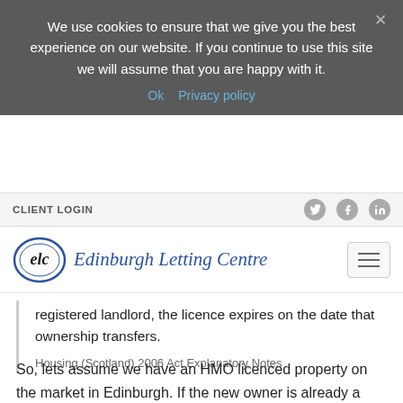We use cookies to ensure that we give you the best experience on our website. If you continue to use this site we will assume that you are happy with it.
Ok   Privacy policy
CLIENT LOGIN
[Figure (logo): Edinburgh Letting Centre logo with oval ELC emblem and italic blue text]
registered landlord, the licence expires on the date that ownership transfers.
Housing (Scotland) 2006 Act Explanatory Notes
So, lets assume we have an HMO licenced property on the market in Edinburgh. If the new owner is already a landlord registered in Edinburgh, the HMO licence will transfer to the new owner for 1 month from the date of